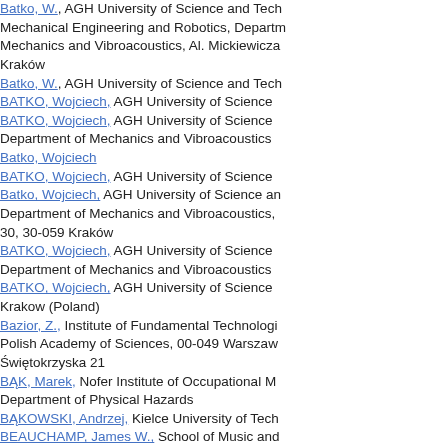Batko, W., AGH University of Science and Technology, Faculty of Mechanical Engineering and Robotics, Department of Mechanics and Vibroacoustics, Al. Mickiewicza Kraków
Batko, W., AGH University of Science and Tech
BATKO, Wojciech, AGH University of Science
BATKO, Wojciech, AGH University of Science Department of Mechanics and Vibroacoustics
Batko, Wojciech
BATKO, Wojciech, AGH University of Science
Batko, Wojciech, AGH University of Science and Department of Mechanics and Vibroacoustics, 30, 30-059 Kraków
BATKO, Wojciech, AGH University of Science Department of Mechanics and Vibroacoustics
BATKO, Wojciech, AGH University of Science Krakow (Poland)
Bazior, Z., Institute of Fundamental Technologi Polish Academy of Sciences, 00-049 Warszaw Świętokrzyska 21
BĄK, Marek, Nofer Institute of Occupational M Department of Physical Hazards
BĄKOWSKI, Andrzej, Kielce University of Tech
BEAUCHAMP, James W., School of Music and Electrical & Computer Engineering University of Urbana-Champaign
BEAUCHAMP, James W., University of Illinois Champaign School of Music and Dept. of Elec